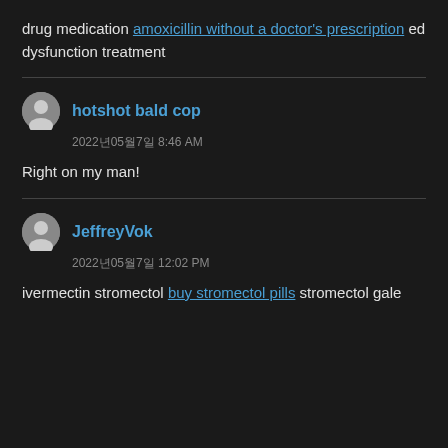drug medication amoxicillin without a doctor's prescription ed dysfunction treatment
hotshot bald cop
2022년05월7일 8:46 AM
Right on my man!
JeffreyVok
2022년05월7일 12:02 PM
ivermectin stromectol buy stromectol pills stromectol gale